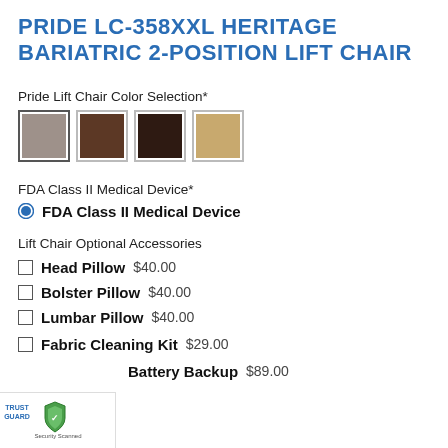PRIDE LC-358XXL HERITAGE BARIATRIC 2-POSITION LIFT CHAIR
Pride Lift Chair Color Selection*
[Figure (illustration): Four fabric color swatches: gray/taupe, medium brown, dark brown/espresso, tan/beige. First swatch is selected (highlighted border).]
FDA Class II Medical Device*
FDA Class II Medical Device (radio button selected)
Lift Chair Optional Accessories
Head Pillow $40.00
Bolster Pillow $40.00
Lumbar Pillow $40.00
Fabric Cleaning Kit $29.00
Battery Backup $89.00
[Figure (logo): TrustGuard Security Scanned badge in bottom left corner]